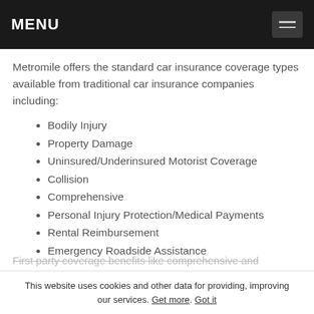MENU
Metromile offers the standard car insurance coverage types available from traditional car insurance companies including:
Bodily Injury
Property Damage
Uninsured/Underinsured Motorist Coverage
Collision
Comprehensive
Personal Injury Protection/Medical Payments
Rental Reimbursement
Emergency Roadside Assistance
First party coverage benefits like comprehensive and
This website uses cookies and other data for providing, improving our services. Get more. Got it